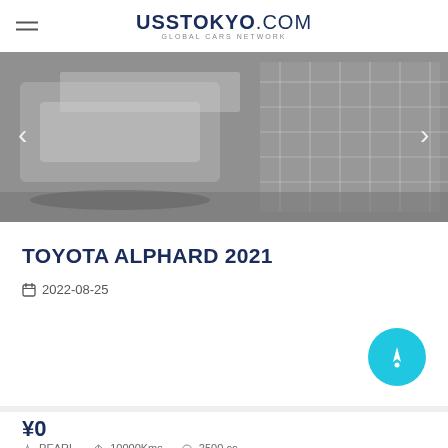USS TOKYO.COM GLOBAL CARS NETWORK
[Figure (photo): Black and white photo of a Toyota Alphard vehicle in a parking/showroom setting with navigation arrows on left and right sides]
TOYOTA ALPHARD 2021
2022-08-25
¥0
PEARL   10000Kms   2500 cc